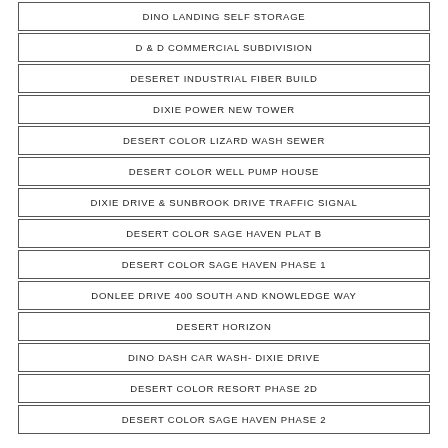DINO LANDING SELF STORAGE
D & D COMMERCIAL SUBDIVISION
DESERET INDUSTRIAL FIBER BUILD
DIXIE POWER NEW TOWER
DESERT COLOR LIZARD WASH SEWER
DESERT COLOR WELL PUMP HOUSE
DIXIE DRIVE & SUNBROOK DRIVE TRAFFIC SIGNAL
DESERT COLOR SAGE HAVEN PLAT B
DESERT COLOR SAGE HAVEN PHASE 1
DONLEE DRIVE 400 SOUTH AND KNOWLEDGE WAY
DESERT HORIZON
DINO DASH CAR WASH- DIXIE DRIVE
DESERT COLOR RESORT PHASE 2D
DESERT COLOR SAGE HAVEN PHASE 2